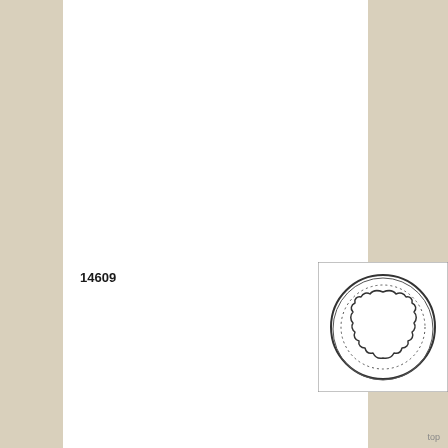14609
[Figure (illustration): Cross-section illustration showing a circular outer boundary (hand-drawn style) with a dotted inner circle and an irregular, lobed organic shape in the center, resembling a botanical or biological cross-section specimen.]
top